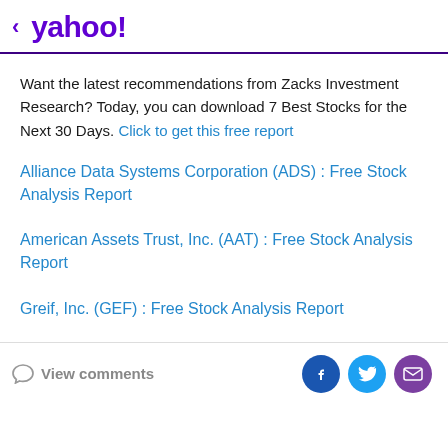< yahoo!
Want the latest recommendations from Zacks Investment Research? Today, you can download 7 Best Stocks for the Next 30 Days. Click to get this free report
Alliance Data Systems Corporation (ADS) : Free Stock Analysis Report
American Assets Trust, Inc. (AAT) : Free Stock Analysis Report
Greif, Inc. (GEF) : Free Stock Analysis Report
View comments